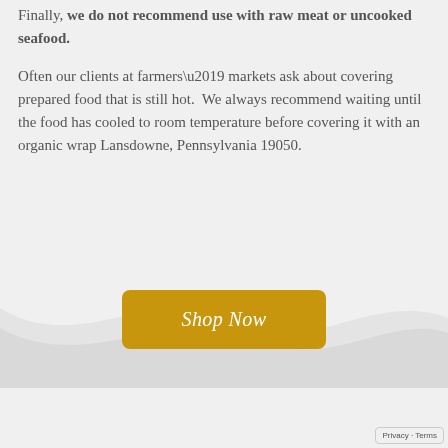Finally, we do not recommend use with raw meat or uncooked seafood.
Often our clients at farmers’ markets ask about covering prepared food that is still hot. We always recommend waiting until the food has cooled to room temperature before covering it with an organic wrap Lansdowne, Pennsylvania 19050.
[Figure (other): Golden/amber colored 'Shop Now' button with rounded corners on a light gray background with a wave shape below]
Privacy · Terms